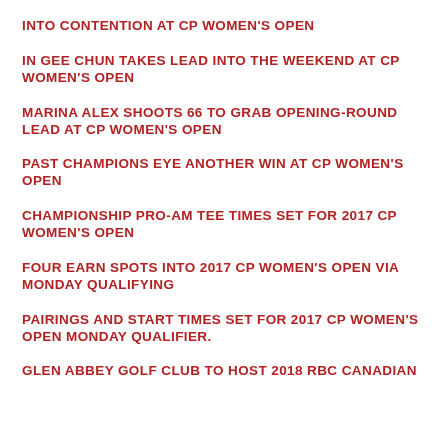INTO CONTENTION AT CP WOMEN'S OPEN
IN GEE CHUN TAKES LEAD INTO THE WEEKEND AT CP WOMEN'S OPEN
MARINA ALEX SHOOTS 66 TO GRAB OPENING-ROUND LEAD AT CP WOMEN'S OPEN
PAST CHAMPIONS EYE ANOTHER WIN AT CP WOMEN'S OPEN
CHAMPIONSHIP PRO-AM TEE TIMES SET FOR 2017 CP WOMEN'S OPEN
FOUR EARN SPOTS INTO 2017 CP WOMEN'S OPEN VIA MONDAY QUALIFYING
PAIRINGS AND START TIMES SET FOR 2017 CP WOMEN'S OPEN MONDAY QUALIFIER.
GLEN ABBEY GOLF CLUB TO HOST 2018 RBC CANADIAN